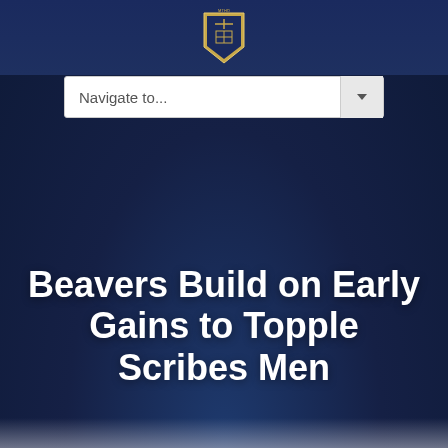[Figure (logo): University or school crest/shield logo in gold and white on dark navy background, positioned at top center of page header]
[Figure (screenshot): Navigation dropdown bar with placeholder text 'Navigate to...' and a dropdown arrow button on the right, white background on navy page]
Beavers Build on Early Gains to Topple Scribes Men